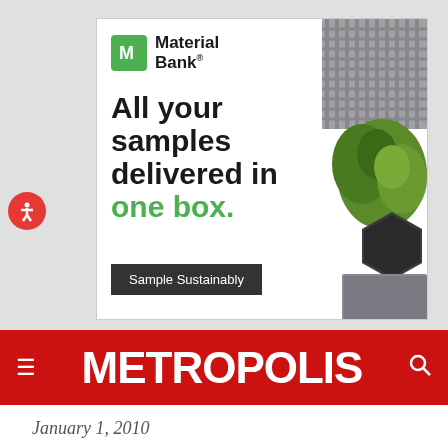[Figure (illustration): Material Bank advertisement. Logo with green square icon and 'Material Bank' text. Ad copy reads 'All your samples delivered in one box.' with 'one box.' in green. CTA button says 'Sample Sustainably'. Right side shows product samples including metal grid, moss, hexagonal stone tile, and metallic fabric.]
METROPOLIS
January 1, 2010